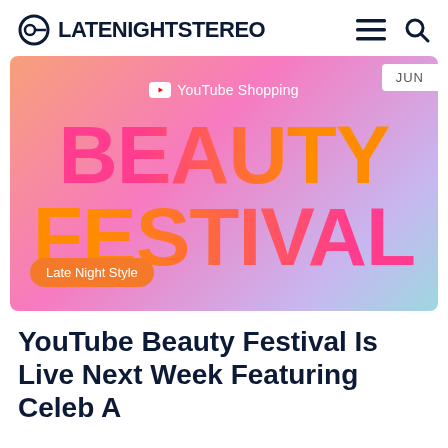LATENIGHTSTEREO
[Figure (illustration): YouTube Shopping Beauty Festival promotional banner with gradient background (orange to pink to lavender to teal), YouTube Shopping logo at top, large bold text 'BEAUTY FESTIVAL' in pink and orange gradient letters, and 'Late Night Style' orange pill badge at bottom left. 'JUN' label in top right corner.]
YouTube Beauty Festival Is Live Next Week Featuring Celeb A…